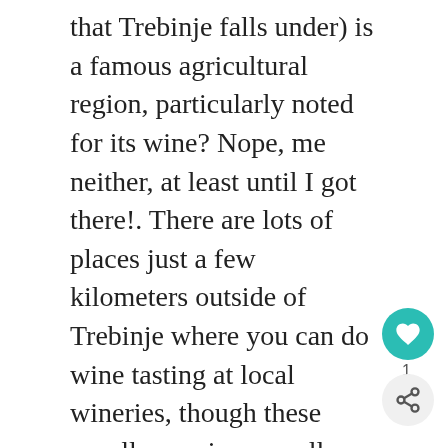that Trebinje falls under) is a famous agricultural region, particularly noted for its wine? Nope, me neither, at least until I got there!. There are lots of places just a few kilometers outside of Trebinje where you can do wine tasting at local wineries, though these usually require a small group and an appointment. Wine tasting is very cheap – usually about 10 marks (5 euros) including food! Or, if you'd like to sample some local wines at a restaurant, try Vukoje. It's upscale by Bosnian standards but you still would be hard pressed to spend more than 10 or 15 euros per person.